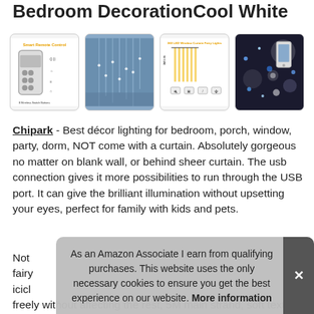Bedroom DecorationCool White
[Figure (photo): Four product images: smart remote control diagram, curtain fairy lights hanging, product dimension diagram, and product lifestyle/glowing bokeh photo]
Chipark - Best décor lighting for bedroom, porch, window, party, dorm, NOT come with a curtain. Absolutely gorgeous no matter on blank wall, or behind sheer curtain. The usb connection gives it more possibilities to run through the USB port. It can give the brilliant illumination without upsetting your eyes, perfect for family with kids and pets.
Not fairy icicl freely without affecting the rest, 5M main strand, soft texture,
As an Amazon Associate I earn from qualifying purchases. This website uses the only necessary cookies to ensure you get the best experience on our website. More information